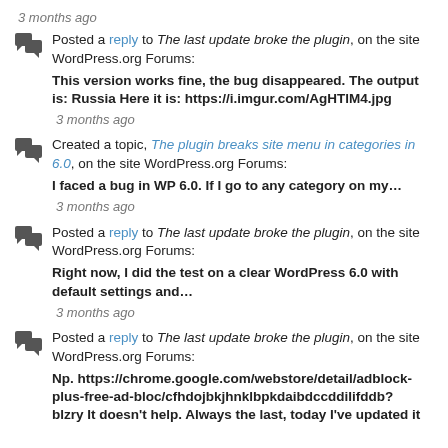3 months ago
Posted a reply to The last update broke the plugin, on the site WordPress.org Forums:
This version works fine, the bug disappeared. The output is: Russia Here it is: https://i.imgur.com/AgHTlM4.jpg
3 months ago
Created a topic, The plugin breaks site menu in categories in 6.0, on the site WordPress.org Forums:
I faced a bug in WP 6.0. If I go to any category on my…
3 months ago
Posted a reply to The last update broke the plugin, on the site WordPress.org Forums:
Right now, I did the test on a clear WordPress 6.0 with default settings and…
3 months ago
Posted a reply to The last update broke the plugin, on the site WordPress.org Forums:
Np. https://chrome.google.com/webstore/detail/adblock-plus-free-ad-bloc/cfhdojbkjhnklbpkdaibdccddiIifddb?
blzry It doesn't help. Always the last, today I've updated it